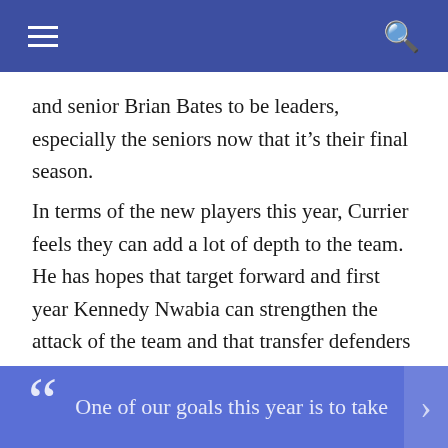[Navigation bar with hamburger menu and search icon]
and senior Brian Bates to be leaders, especially the seniors now that it's their final season.
In terms of the new players this year, Currier feels they can add a lot of depth to the team. He has hopes that target forward and first year Kennedy Nwabia can strengthen the attack of the team and that transfer defenders Carlos Sendin and Blake McNelis, who joined the program from West Virginia Tech and Creighton, respectively, can both contribute to the team's defense in front of junior goalkeeper Justin Saliba.
“One of our goals this year is to take